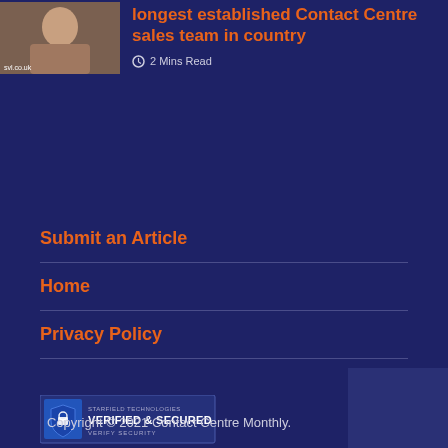[Figure (photo): Thumbnail image of a person with svl.co.uk watermark label]
longest established Contact Centre sales team in country
2 Mins Read
Submit an Article
Home
Privacy Policy
[Figure (logo): Starfield Technologies Verified & Secured security badge]
Copyright © 2021 Contact Centre Monthly.